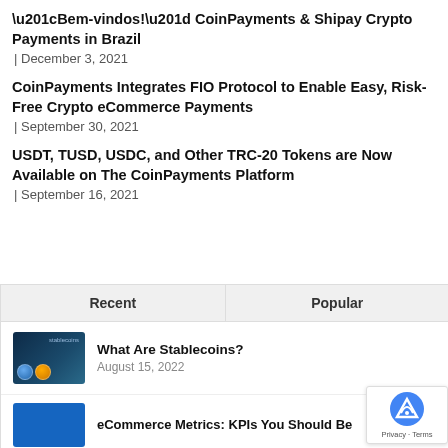“Bem-vindos!” CoinPayments & Shipay Crypto Payments in Brazil
| December 3, 2021
CoinPayments Integrates FIO Protocol to Enable Easy, Risk-Free Crypto eCommerce Payments
| September 30, 2021
USDT, TUSD, USDC, and Other TRC-20 Tokens are Now Available on The CoinPayments Platform
| September 16, 2021
Recent | Popular
What Are Stablecoins?
August 15, 2022
eCommerce Metrics: KPIs You Should Be